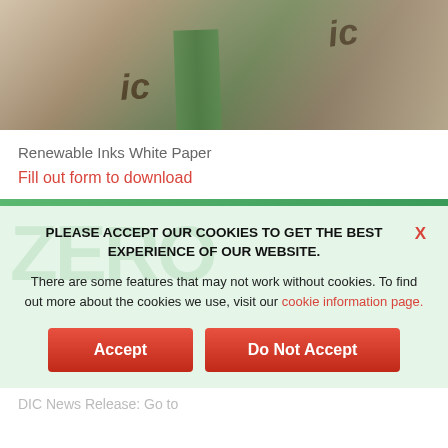[Figure (photo): Close-up photo of wooden/paper packaging items with 'ic' text visible, green stripe element, brown tones]
Renewable Inks White Paper
Fill out form to download
PLEASE ACCEPT OUR COOKIES TO GET THE BEST EXPERIENCE OF OUR WEBSITE.
There are some features that may not work without cookies. To find out more about the cookies we use, visit our cookie information page.
Accept
Do Not Accept
DIC News Release: Go to